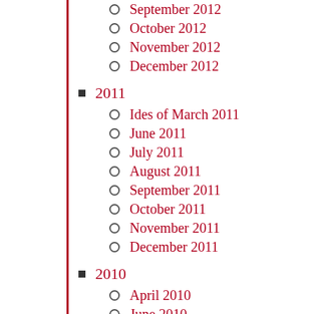September 2012
October 2012
November 2012
December 2012
2011
Ides of March 2011
June 2011
July 2011
August 2011
September 2011
October 2011
November 2011
December 2011
2010
April 2010
June 2010
July 2010